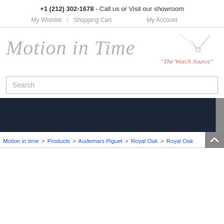+1 (212) 302-1678 - Call us or Visit our showroom
My Wishlist / Shopping Cart   My Account
[Figure (logo): Motion in Time - The Watch Source logo with clock hands graphic]
Search
Motion in time > Products > Audemars Piguet > Royal Oak > Royal Oak